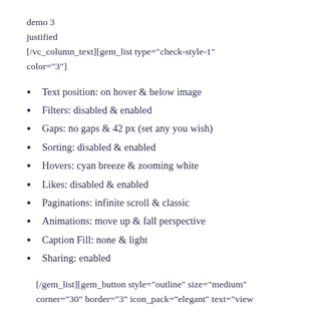demo 3
justified
[/vc_column_text][gem_list type="check-style-1" color="3"]
Text position: on hover & below image
Filters: disabled & enabled
Gaps: no gaps & 42 px (set any you wish)
Sorting: disabled & enabled
Hovers: cyan breeze & zooming white
Likes: disabled & enabled
Paginations: infinite scroll & classic
Animations: move up & fall perspective
Caption Fill: none & light
Sharing: enabled
[/gem_list][gem_button style="outline" size="medium" corner="30" border="3" icon_pack="elegant" text="view